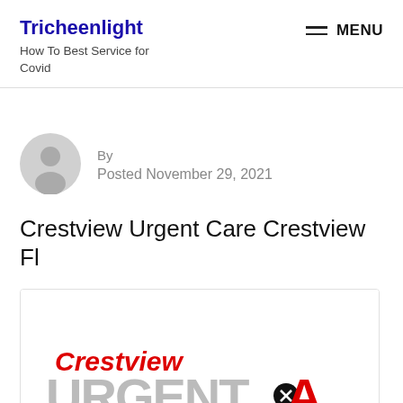Tricheenlight
How To Best Service for Covid
[Figure (logo): Gray silhouette avatar icon of a person]
By
Posted November 29, 2021
Crestview Urgent Care Crestview Fl
[Figure (logo): Crestview Urgent Care logo showing 'Crestview' in red italic and 'URGENTA' in large gray/red letters with a close/X circle icon]